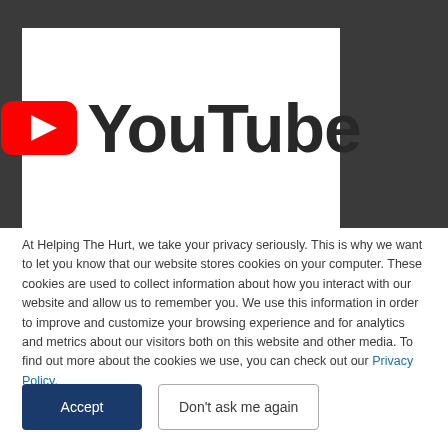[Figure (logo): YouTube logo: red rounded-rectangle play button icon followed by bold 'YouTube' text in dark gray]
At Helping The Hurt, we take your privacy seriously. This is why we want to let you know that our website stores cookies on your computer. These cookies are used to collect information about how you interact with our website and allow us to remember you. We use this information in order to improve and customize your browsing experience and for analytics and metrics about our visitors both on this website and other media. To find out more about the cookies we use, you can check out our Privacy Policy.
Accept
Don't ask me again